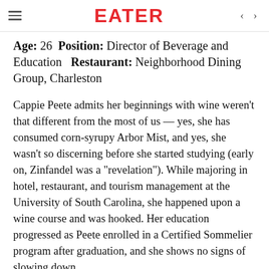EATER
Age: 26  Position: Director of Beverage and Education  Restaurant: Neighborhood Dining Group, Charleston
Cappie Peete admits her beginnings with wine weren't that different from the most of us — yes, she has consumed corn-syrupy Arbor Mist, and yes, she wasn't so discerning before she started studying (early on, Zinfandel was a "revelation"). While majoring in hotel, restaurant, and tourism management at the University of South Carolina, she happened upon a wine course and was hooked. Her education progressed as Peete enrolled in a Certified Sommelier program after graduation, and she shows no signs of slowing down.
Her clarifying moment came
“In that